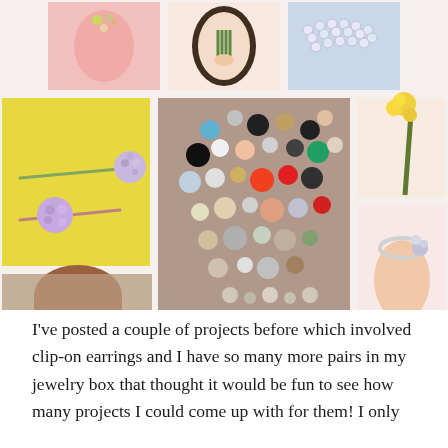[Figure (photo): A collage of DIY jewelry and craft project photos: clip-on earrings used as hair pins, an oval framed art piece, a blue pearl necklace, colorful vintage earring collection spread on table, flower hair stick, woman portrait, pink dresser with earring knobs, butterfly brooch, bracelet with jewelry clasp, rhinestone drawer pulls, and more jewelry repurposing projects.]
I've posted a couple of projects before which involved clip-on earrings and I have so many more pairs in my jewelry box that thought it would be fun to see how many projects I could come up with for them! I only